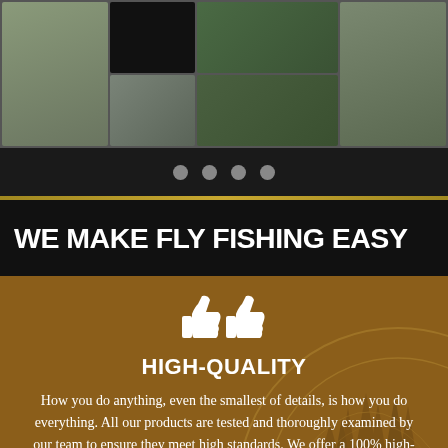[Figure (photo): Collage of fly fishing photos showing anglers holding fish outdoors, arranged in a grid layout]
[Figure (infographic): Navigation dots bar showing four gray circle dots on black background indicating a carousel/slideshow]
WE MAKE FLY FISHING EASY
HIGH-QUALITY
How you do anything, even the smallest of details, is how you do everything. All our products are tested and thoroughly examined by our team to ensure they meet high standards. We offer a 100% high-quality guarantee for each and every of